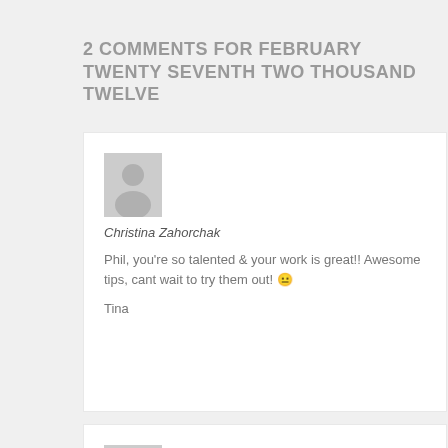2 COMMENTS FOR FEBRUARY TWENTY SEVENTH TWO THOUSAND TWELVE
Christina Zahorchak
Phil, you're so talented & your work is great!! Awesome tips, cant wait to try them out! 🙂
Tina
phil